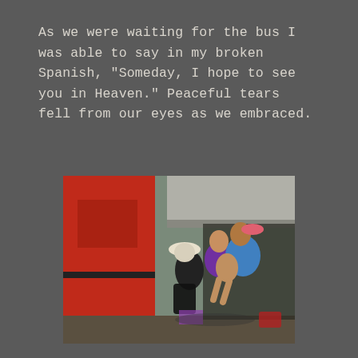As we were waiting for the bus I was able to say in my broken Spanish, "Someday, I hope to see you in Heaven." Peaceful tears fell from our eyes as we embraced.
[Figure (photo): A group of people near a red bus. One person in a blue shirt is carrying or supporting another person with bare feet. A person in black with a white hat is nearby. Another person in a purple shirt stands in the background. The setting appears to be an outdoor bus stop or terminal.]